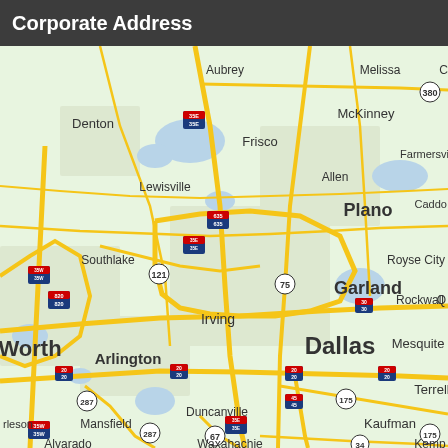Corporate Address
[Figure (map): Google Maps view of the Dallas–Fort Worth metropolitan area in Texas, showing major cities and highways including Dallas, Fort Worth, Plano, Garland, Irving, Arlington, Denton, McKinney, Frisco, Mesquite, Rockwall, Lewisville, Southlake, Duncanville, Mansfield, Kaufman, Terrell, and surrounding areas. Highways shown include I-35E, I-35W, I-635, I-20, I-820, I-30, US-75, US-287, US-67, US-380, US-175, US-45, US-34.]